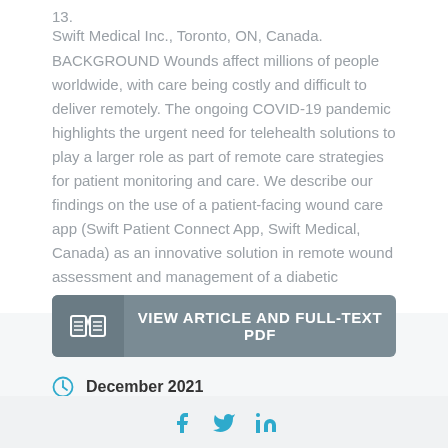13.
Swift Medical Inc., Toronto, ON, Canada.
BACKGROUND Wounds affect millions of people worldwide, with care being costly and difficult to deliver remotely. The ongoing COVID-19 pandemic highlights the urgent need for telehealth solutions to play a larger role as part of remote care strategies for patient monitoring and care. We describe our findings on the use of a patient-facing wound care app (Swift Patient Connect App, Swift Medical, Canada) as an innovative solution in remote wound assessment and management of a diabetic patient's wound. Read More
[Figure (other): Button: VIEW ARTICLE AND FULL-TEXT PDF with open book icon]
December 2021
Similar Publications
[Figure (other): Social media icons: Facebook, Twitter, LinkedIn]